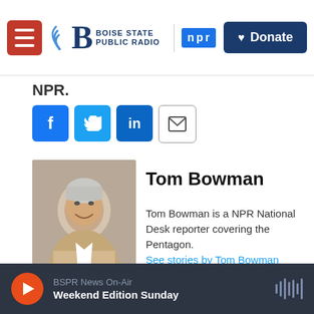Boise State Public Radio | NPR | Donate
NPR.
[Figure (infographic): Social sharing buttons: Facebook, Twitter, LinkedIn, Email]
[Figure (photo): Headshot photo of Tom Bowman]
Tom Bowman
Tom Bowman is a NPR National Desk reporter covering the Pentagon.
See stories by Tom Bowman
[Figure (photo): Headshot photo of Steve Inskeep]
Steve Inskeep
BSPR News On-Air Weekend Edition Sunday